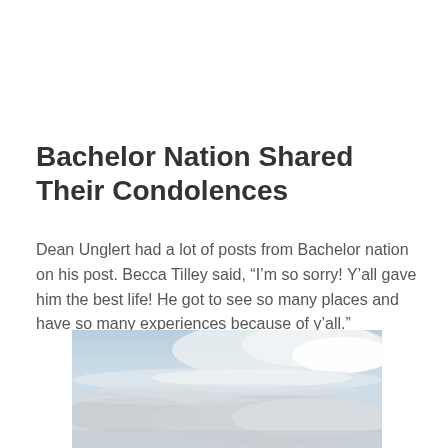Bachelor Nation Shared Their Condolences
Dean Unglert had a lot of posts from Bachelor nation on his post. Becca Tilley said, “I’m so sorry! Y’all gave him the best life! He got to see so many places and have so many experiences because of y’all.”
[Figure (photo): A sky photograph showing blue sky with wispy white and grey clouds, cropped at the bottom of the page.]